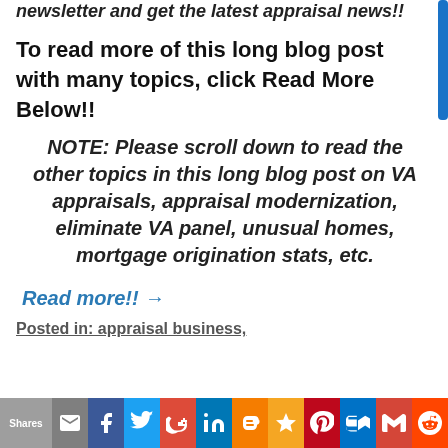newsletter and get the latest appraisal news!!
To read more of this long blog post with many topics, click Read More Below!!
NOTE: Please scroll down to read the other topics in this long blog post on VA appraisals, appraisal modernization, eliminate VA panel, unusual homes, mortgage origination stats, etc.
Read more!! →
Posted in: appraisal business,